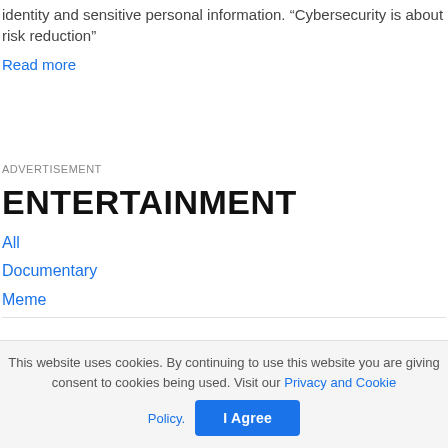identity and sensitive personal information. “Cybersecurity is about risk reduction”
Read more
ADVERTISEMENT
ENTERTAINMENT
All
Documentary
Meme
This website uses cookies. By continuing to use this website you are giving consent to cookies being used. Visit our Privacy and Cookie Policy.
I Agree